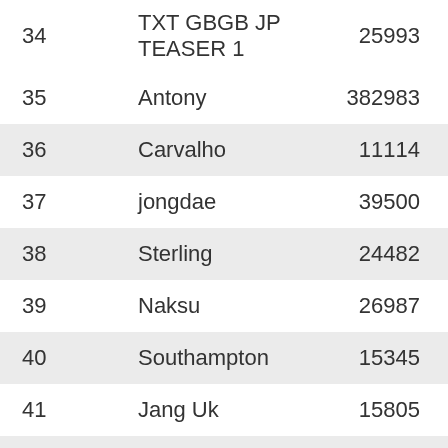| Rank | Name | Value |
| --- | --- | --- |
| 34 | TXT GBGB JP TEASER 1 | 25993 |
| 35 | Antony | 382983 |
| 36 | Carvalho | 11114 |
| 37 | jongdae | 39500 |
| 38 | Sterling | 24482 |
| 39 | Naksu | 26987 |
| 40 | Southampton | 15345 |
| 41 | Jang Uk | 15805 |
| 42 | Onew | 56398 |
| 43 | Dean Henderson | 12728 |